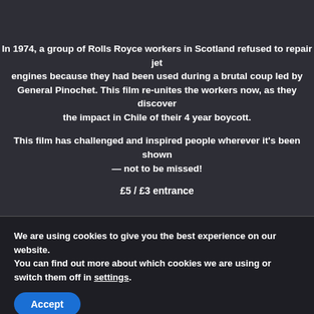In 1974, a group of Rolls Royce workers in Scotland refused to repair jet engines because they had been used during a brutal coup led by General Pinochet. This film re-unites the workers now, as they discover the impact in Chile of their 4 year boycott.
This film has challenged and inspired people wherever it's been shown — not to be missed!
£5 / £3 entrance
doors 6.30
start 7.00pm
All Welcome
We are using cookies to give you the best experience on our website.
You can find out more about which cookies we are using or switch them off in settings.